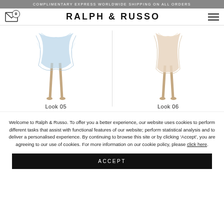COMPLIMENTARY EXPRESS WORLDWIDE SHIPPING ON ALL ORDERS
RALPH & RUSSO
[Figure (illustration): Fashion illustration of dress Look 05 - lower portion showing a light blue/white flowing gown with legs visible]
Look 05
[Figure (illustration): Fashion illustration of dress Look 06 - lower portion showing a nude/beige gown with legs visible]
Look 06
Welcome to Ralph & Russo. To offer you a better experience, our website uses cookies to perform different tasks that assist with functional features of our website; perform statistical analysis and to deliver a personalised experience. By continuing to browse this site or by clicking ‘Accept’, you are agreeing to our use of cookies. For more information on our cookie policy, please click here.
ACCEPT